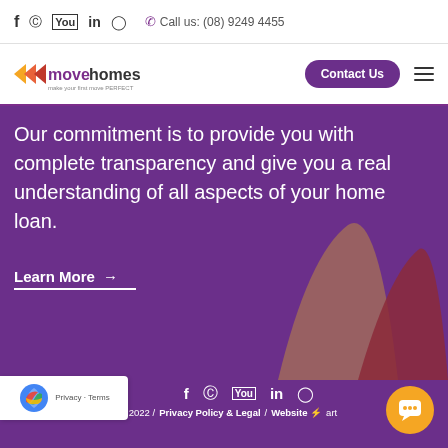Social icons: f, pinterest, youtube, in, instagram | Call us: (08) 9249 4455
[Figure (logo): Move Homes logo with purple arrow icons]
Contact Us
Our commitment is to provide you with complete transparency and give you a real understanding of all aspects of your home loan.
Learn More →
[Figure (illustration): Decorative abstract mountain/arrow shapes in mauve and red tones on purple background]
Social icons: f, pinterest, youtube, in, instagram | Copyright 2022 / Privacy Policy & Legal / Website ⚡ ...art